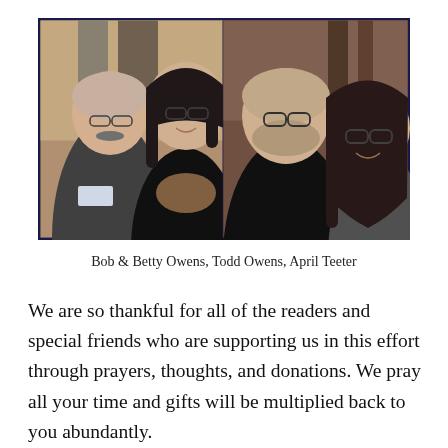[Figure (photo): Two side-by-side photos: left shows an older couple (Bob and Betty Owens), right shows a younger couple (Todd Owens and April Teeter) cheek to cheek]
Bob & Betty Owens, Todd Owens, April Teeter
We are so thankful for all of the readers and special friends who are supporting us in this effort through prayers, thoughts, and donations. We pray all your time and gifts will be multiplied back to you abundantly.